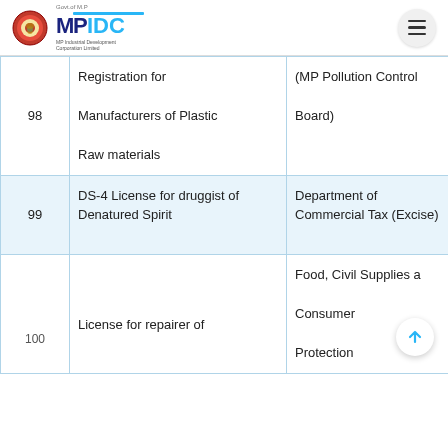MPIDC - MP Industrial Development Corporation Limited, Govt of M.P.
| No. | Description | Department | Link |
| --- | --- | --- | --- |
| 98 | Registration for Manufacturers of Plastic Raw materials | (MP Pollution Control Board) | Click to detail |
| 99 | DS-4 License for druggist of Denatured Spirit | Department of Commercial Tax (Excise) | Click to detail |
| 100 | License for repairer of | Food, Civil Supplies and Consumer Protection | Click to detail |